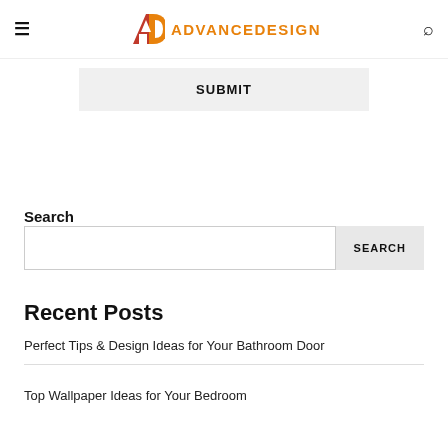ADVANCEDESIGN
SUBMIT
Search
SEARCH
Recent Posts
Perfect Tips & Design Ideas for Your Bathroom Door
Top Wallpaper Ideas for Your Bedroom